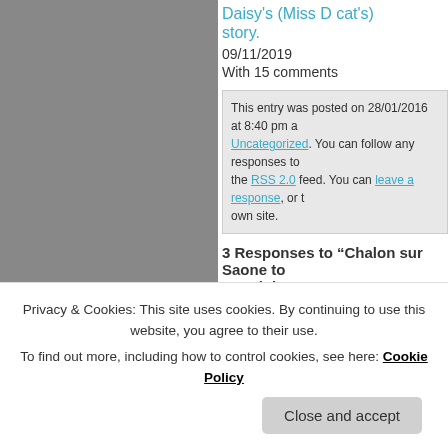Daisy's (Miss D cat's) story.
09/11/2019
With 15 comments
This entry was posted on 28/01/2016 at 8:40 pm and filed under Uncategorized. You can follow any responses to the RSS 2.0 feed. You can leave a response, or trackback from your own site.
3 Responses to “Chalon sur Saone to Canal du Centre”
Andywindy said
Privacy & Cookies: This site uses cookies. By continuing to use this website, you agree to their use.
To find out more, including how to control cookies, see here: Cookie Policy
Close and accept